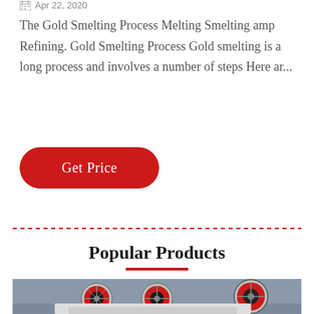Apr 22, 2020
The Gold Smelting Process Melting Smelting amp Refining. Gold Smelting Process Gold smelting is a long process and involves a number of steps Here ar...
[Figure (other): Red rounded button labeled 'Get Price']
Popular Products
[Figure (photo): Industrial jaw crusher machinery with large red and black flywheels in a factory setting]